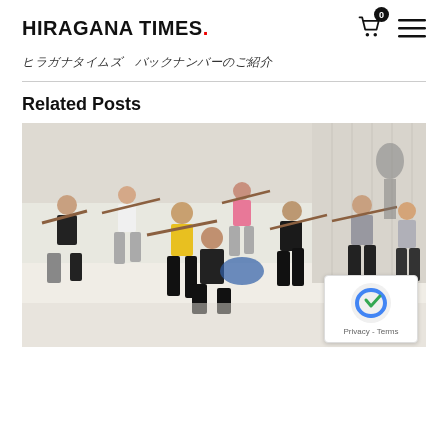HIRAGANA TIMES.
ヒラガナタイムズ　バックナンバーのご紹介
Related Posts
[Figure (photo): Group of people in a dance or martial arts studio performing choreographed poses with props (sticks/rods), wearing casual exercise clothing, in a white-walled room with mirrors.]